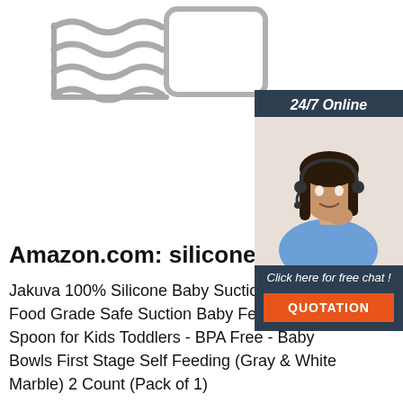[Figure (photo): Metal wire rack/dish drying rack product photo on white background, partially cropped in upper left]
[Figure (infographic): Chat widget overlay in dark navy blue. Shows '24/7 Online' header, photo of female customer service agent with headset smiling, 'Click here for free chat!' text, and orange 'QUOTATION' button]
Amazon.com: silicone baby bo...
Jakuva 100% Silicone Baby Suction B... Food Grade Safe Suction Baby Feeding Set with Spoon for Kids Toddlers - BPA Free - Baby Bowls First Stage Self Feeding (Gray & White Marble) 2 Count (Pack of 1)
[Figure (logo): Orange and grey 'TOP' badge icon in lower right area]